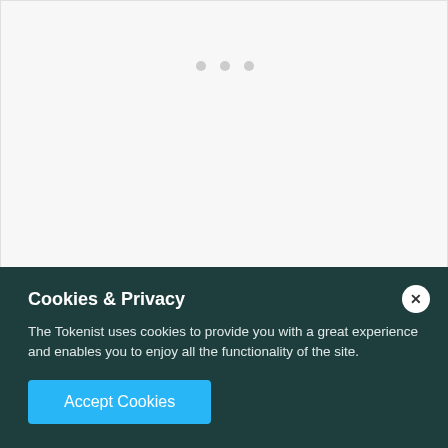[Figure (other): Gray placeholder area with three small dots indicating a loading or carousel element]
You can also create custom forex pairs through thinkorswim. It is unclear whether you can also
Cookies & Privacy
The Tokenist uses cookies to provide you with a great experience and enables you to enjoy all the functionality of the site.
Accept Cookies